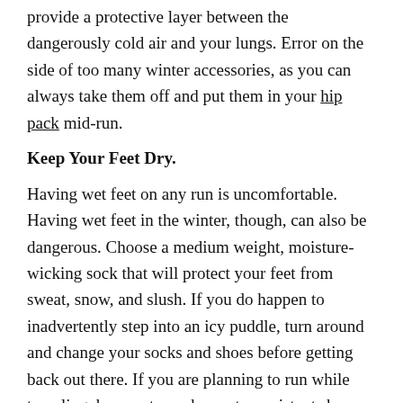provide a protective layer between the dangerously cold air and your lungs. Error on the side of too many winter accessories, as you can always take them off and put them in your hip pack mid-run.
Keep Your Feet Dry.
Having wet feet on any run is uncomfortable. Having wet feet in the winter, though, can also be dangerous. Choose a medium weight, moisture-wicking sock that will protect your feet from sweat, snow, and slush. If you do happen to inadvertently step into an icy puddle, turn around and change your socks and shoes before getting back out there. If you are planning to run while traveling, be sure to pack a water-resistant shoe locker so your wet winter running shoes don't soak the rest of your belongings.
Know When It's Too Cold.